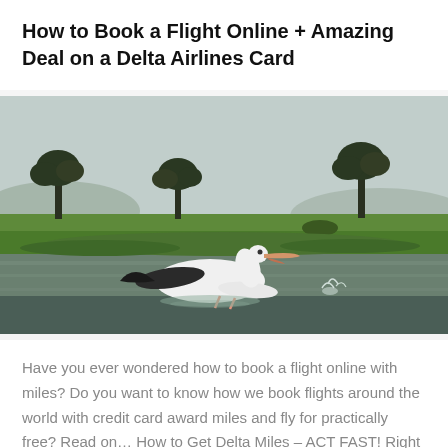How to Book a Flight Online + Amazing Deal on a Delta Airlines Card
[Figure (photo): A pelican skimming across a shallow lake or wetland, wings spread low over water with splashing water droplets, green marsh vegetation and acacia trees in the background against a hazy sky — African savanna wetland scene.]
Have you ever wondered how to book a flight online with miles? Do you want to know how we book flights around the world with credit card award miles and fly for practically free? Read on… How to Get Delta Miles – ACT FAST! Right